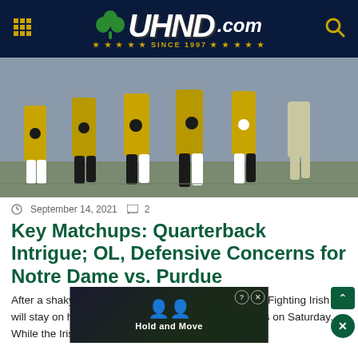UHND.com — Since 1997
[Figure (photo): Notre Dame football players in gold uniforms and helmets running drills on a field, shot from waist/legs level showing gold pants and cleats]
September 14, 2021  2
Key Matchups: Quarterback Intrigue; OL, Defensive Concerns for Notre Dame vs. Purdue
After a shaky 32-29 win over Toledo, the Notre Dame Fighting Irish will stay on home turf to face the Purdue Boilermakers on Saturday. While the Irish are 2-0 on
[Figure (screenshot): Advertisement banner at the bottom reading 'Hold and Move' with player icons on a dark background]